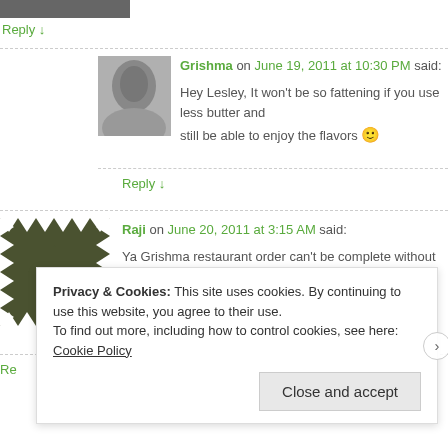[Figure (photo): Partial dark image at top left corner]
Reply ↓
Grishma on June 19, 2011 at 10:30 PM said:
[Figure (photo): Black and white avatar photo of Grishma]
Hey Lesley, It won't be so fattening if you use less butter and still be able to enjoy the flavors 🙂
Reply ↓
Raji on June 20, 2011 at 3:15 AM said:
[Figure (illustration): Geometric pattern avatar for Raji - dark olive/khaki with white triangle patterns]
Ya Grishma restaurant order can't be complete without a paneer d... melting in my mouth...superb.
Re
Privacy & Cookies: This site uses cookies. By continuing to use this website, you agree to their use.
To find out more, including how to control cookies, see here: Cookie Policy
Close and accept